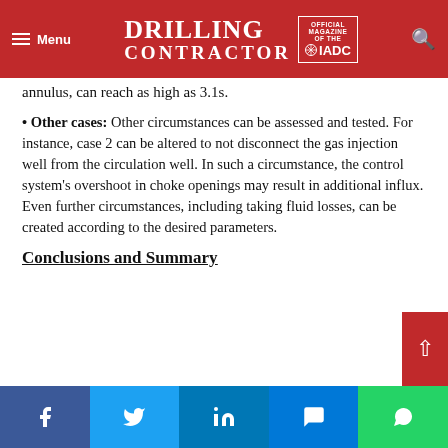Drilling Contractor – Official Magazine of the IADC
annulus, can reach as high as 3.1s.
• Other cases: Other circumstances can be assessed and tested. For instance, case 2 can be altered to not disconnect the gas injection well from the circulation well. In such a circumstance, the control system's overshoot in choke openings may result in additional influx. Even further circumstances, including taking fluid losses, can be created according to the desired parameters.
Conclusions and Summary
Share buttons: Facebook, Twitter, LinkedIn, Messenger, WhatsApp